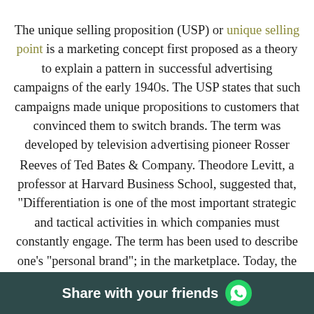The unique selling proposition (USP) or unique selling point is a marketing concept first proposed as a theory to explain a pattern in successful advertising campaigns of the early 1940s. The USP states that such campaigns made unique propositions to customers that convinced them to switch brands. The term was developed by television advertising pioneer Rosser Reeves of Ted Bates & Company. Theodore Levitt, a professor at Harvard Business School, suggested that, "Differentiation is one of the most important strategic and tactical activities in which companies must constantly engage. The term has been used to describe one's "personal brand"; in the marketplace. Today, the term is used in other fields or just casually to refer to any aspect of an object that differentiates it from similar objects.
Share with your friends